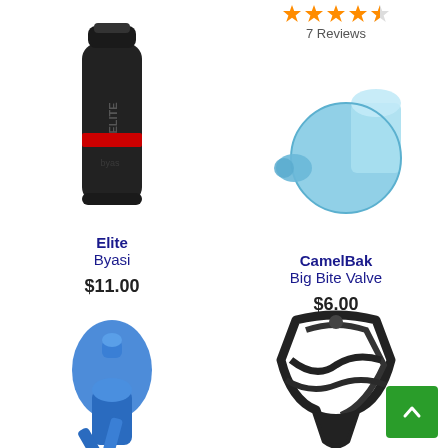7 Reviews
[Figure (photo): Elite Byasi black water bottle with red accent stripe and Elite branding]
Elite Byasi $11.00
[Figure (photo): CamelBak Big Bite Valve, blue translucent replacement bite valve]
CamelBak Big Bite Valve $6.00
[Figure (photo): Blue bicycle water bottle nozzle/cap accessory, partially visible]
[Figure (photo): Black bicycle water bottle cage with twisted design, partially visible]